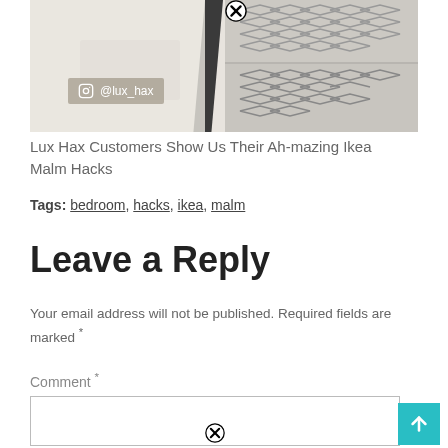[Figure (photo): Photo of a dresser with geometric patterned drawer fronts and a dark frame, watermarked with @lux_hax Instagram handle. Two close/X button overlays visible.]
Lux Hax Customers Show Us Their Ah-mazing Ikea Malm Hacks
Tags: bedroom, hacks, ikea, malm
Leave a Reply
Your email address will not be published. Required fields are marked *
Comment *